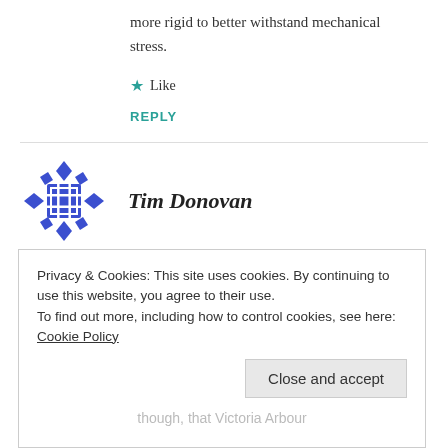more rigid to better withstand mechanical stress.
★ Like
REPLY
[Figure (logo): Blue decorative avatar icon with grid pattern and diamond shapes]
Tim Donovan
NOVEMBER 17, 2017 AT 7:01 AM
Privacy & Cookies: This site uses cookies. By continuing to use this website, you agree to their use.
To find out more, including how to control cookies, see here: Cookie Policy
Close and accept
though, that Victoria Arbour